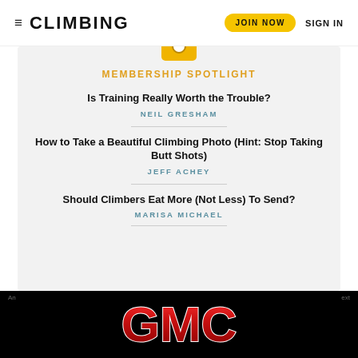≡ CLIMBING  JOIN NOW  SIGN IN
MEMBERSHIP SPOTLIGHT
Is Training Really Worth the Trouble?
NEIL GRESHAM
How to Take a Beautiful Climbing Photo (Hint: Stop Taking Butt Shots)
JEFF ACHEY
Should Climbers Eat More (Not Less) To Send?
MARISA MICHAEL
[Figure (logo): GMC logo on black background advertisement bar]